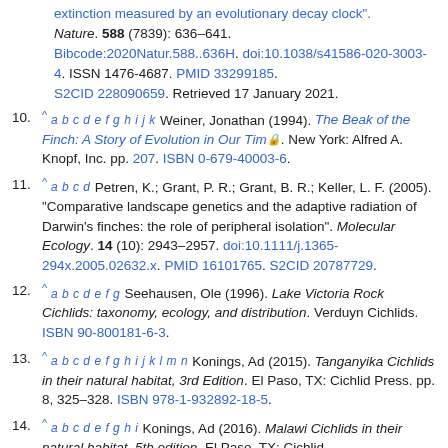[continuation] extinction measured by an evolutionary decay clock". Nature. 588 (7839): 636–641. Bibcode:2020Natur.588..636H. doi:10.1038/s41586-020-3003-4. ISSN 1476-4687. PMID 33299185. S2CID 228090659. Retrieved 17 January 2021.
10. ^ a b c d e f g h i j k Weiner, Jonathan (1994). The Beak of the Finch: A Story of Evolution in Our Time. New York: Alfred A. Knopf, Inc. pp. 207. ISBN 0-679-40003-6.
11. ^ a b c d Petren, K.; Grant, P. R.; Grant, B. R.; Keller, L. F. (2005). "Comparative landscape genetics and the adaptive radiation of Darwin's finches: the role of peripheral isolation". Molecular Ecology. 14 (10): 2943–2957. doi:10.1111/j.1365-294x.2005.02632.x. PMID 16101765. S2CID 20787729.
12. ^ a b c d e f g Seehausen, Ole (1996). Lake Victoria Rock Cichlids: taxonomy, ecology, and distribution. Verduyn Cichlids. ISBN 90-800181-6-3.
13. ^ a b c d e f g h i j k l m n Konings, Ad (2015). Tanganyika Cichlids in their natural habitat, 3rd Edition. El Paso, TX: Cichlid Press. pp. 8, 325–328. ISBN 978-1-932892-18-5.
14. ^ a b c d e f g h i Konings, Ad (2016). Malawi Cichlids in their natural habitat, 5th edition. El Paso, TX: Cichlid